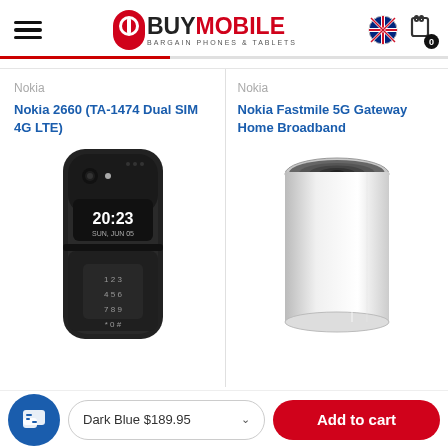[Figure (logo): BuyMobile logo with hamburger menu, Australian flag and cart icon in header]
Nokia
Nokia 2660 (TA-1474 Dual SIM 4G LTE)
Nokia
Nokia Fastmile 5G Gateway Home Broadband
[Figure (photo): Nokia 2660 flip phone showing 20:23 SUN, JUN 05 on display]
[Figure (photo): Nokia Fastmile 5G Gateway white cylindrical router]
Dark Blue $189.95
Add to cart